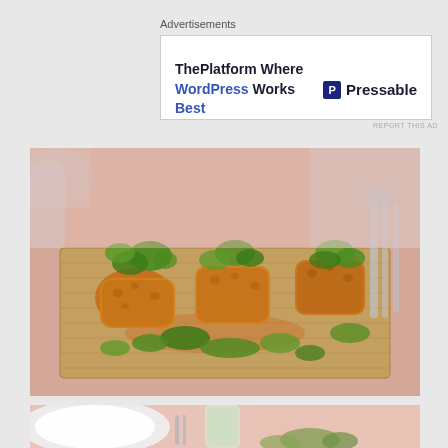Advertisements
[Figure (photo): Advertisement banner for Pressable: 'ThePlatform Where WordPress Works Best' with Pressable logo on the right]
REPORT THIS AD
[Figure (photo): Food photo showing fried/breaded appetizers on a wooden serving board, garnished with fresh herbs/cilantro, with silverware visible in the background]
[Figure (photo): Partial food photo showing a white plate, a glass with a drink, and some garnishes on a pink-toned tablecloth]